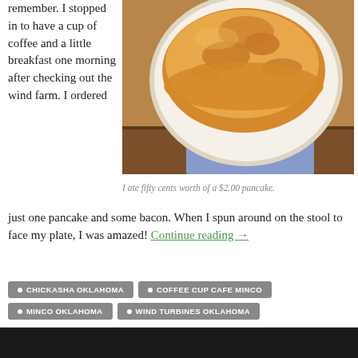remember. I stopped in to have a cup of coffee and a little breakfast one morning after checking out the wind farm.  I ordered just one pancake and some bacon.  When I spun around on the stool to face my plate, I was amazed!
[Figure (photo): Overhead view of a large pancake on a white plate, on a dark wooden table]
I ate fifty cents worth of a $2.00 pancake.
CHICKASHA OKLAHOMA
COFFEE CUP CAFE MINCO
MINCO OKLAHOMA
WIND TURBINES OKLAHOMA